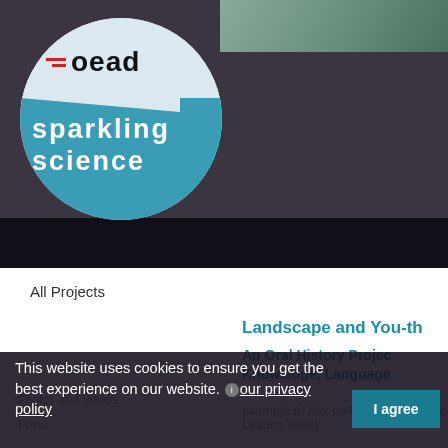[Figure (logo): OeAD Sparkling Science logo: circular logo with teal lower half, featuring red horizontal lines and 'oead' text in dark color on light background, with 'sparkling science' in white lowercase text on teal background]
All Projects
Landscape and You-th
An Oral History Project Knowledge, Language
Photos and Videos
Press
example of flax cultivation and proc Lesach Valley
This website uses cookies to ensure you get the best experience on our website. our privacy policy
I agree